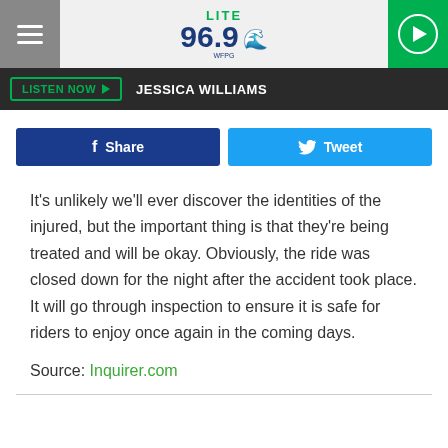[Figure (logo): Lite 96.9 WFPG radio station header with hamburger menu, logo, and play button]
LISTEN NOW ▶   JESSICA WILLIAMS
[Figure (infographic): Facebook Share button and Twitter Tweet button]
It's unlikely we'll ever discover the identities of the injured, but the important thing is that they're being treated and will be okay. Obviously, the ride was closed down for the night after the accident took place. It will go through inspection to ensure it is safe for riders to enjoy once again in the coming days.
Source: Inquirer.com